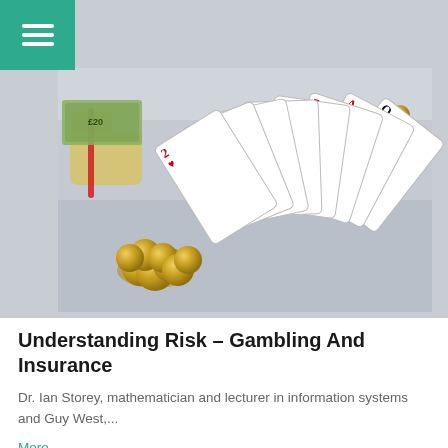[Figure (photo): Photo of playing cards fanned out alongside coins and banknotes, representing gambling and financial risk themes.]
Understanding Risk – Gambling And Insurance
Dr. Ian Storey, mathematician and lecturer in information systems and Guy West,...
More...